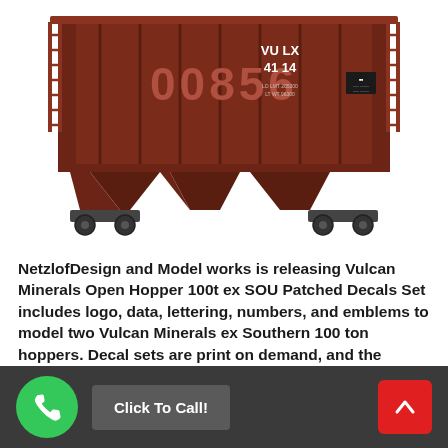[Figure (illustration): Side view illustration of a brown Vulcan Minerals open hopper railroad car (100 ton, ex SOU patched). The car body is dark brown/maroon with white lettering showing 'VU LX 41 14' and large car number '00856'. Includes ladder detail on far right side, truck/wheel assemblies, and hoppers on the underside. Small data plate visible on right side of car body.]
NetzlofDesign and Model works is releasing Vulcan Minerals Open Hopper 100t ex SOU Patched Decals Set includes logo, data, lettering, numbers, and emblems to model two Vulcan Minerals ex Southern 100 ton hoppers. Decal sets are print on demand, and the following scales are available to purchase from the Listings: G (1:29), G (1:32), O ... Read more